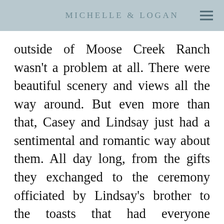MICHELLE & LOGAN
outside of Moose Creek Ranch wasn't a problem at all. There were beautiful scenery and views all the way around. But even more than that, Casey and Lindsay just had a sentimental and romantic way about them. All day long, from the gifts they exchanged to the ceremony officiated by Lindsay's brother to the toasts that had everyone laughing and crying. It is obvious how much their family means to them. Their guests all traveled with them from Washington for this destination wedding.